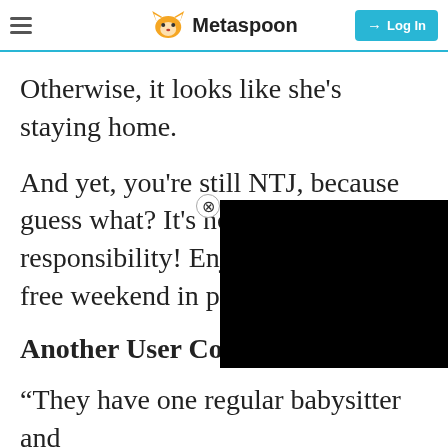Metaspoon — Log In
Otherwise, it looks like she's staying home.
And yet, you're still NTJ, because guess what? It's not your responsibility! Enjoy your child-free weekend in peace.“ElysGirl
Another User Comm
“They have one regular babysitter and